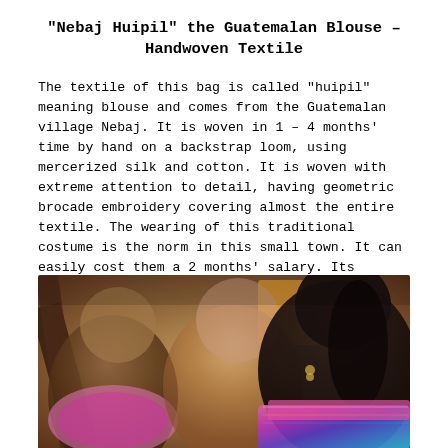“Nebaj Huipil” the Guatemalan Blouse – Handwoven Textile
The textile of this bag is called “huipil” meaning blouse and comes from the Guatemalan village Nebaj. It is woven in 1 – 4 months’ time by hand on a backstrap loom, using mercerized silk and cotton. It is woven with extreme attention to detail, having geometric brocade embroidery covering almost the entire textile. The wearing of this traditional costume is the norm in this small town. It can easily cost them a 2 months’ salary. Its geometric brocade embroidery has human characteristics, animal forms and attributes of plants.
[Figure (photo): Women weaving on backstrap looms, wearing traditional colorful Guatemalan huipil blouses with geometric brocade embroidery]